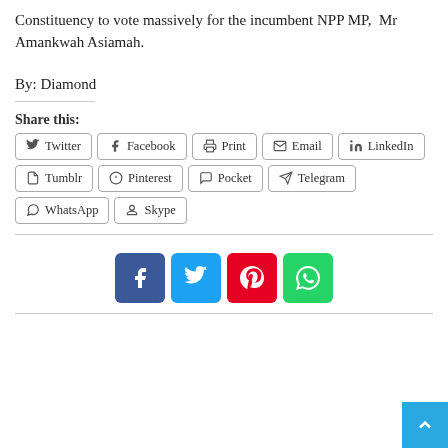Constituency to vote massively for the incumbent NPP MP,  Mr Amankwah Asiamah.
By: Diamond
Share this:
Twitter, Facebook, Print, Email, LinkedIn, Tumblr, Pinterest, Pocket, Telegram, WhatsApp, Skype
[Figure (infographic): Social share icons: Facebook (blue), Twitter (light blue), Pinterest (red), WhatsApp (green)]